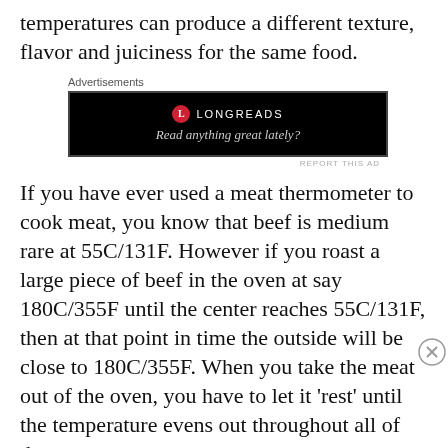temperatures can produce a different texture, flavor and juiciness for the same food.
Advertisements
[Figure (other): Longreads advertisement: black background with Longreads logo and tagline 'Read anything great lately?']
REPORT THIS AD
If you have ever used a meat thermometer to cook meat, you know that beef is medium rare at 55C/131F. However if you roast a large piece of beef in the oven at say 180C/355F until the center reaches 55C/131F, then at that point in time the outside will be close to 180C/355F. When you take the meat out of the oven, you have to let it 'rest' until the temperature evens out throughout all of the
Advertisements
[Figure (other): Victoria's Secret advertisement: pink background with model photo, VS logo, 'SHOP THE COLLECTION' text and 'SHOP NOW' button]